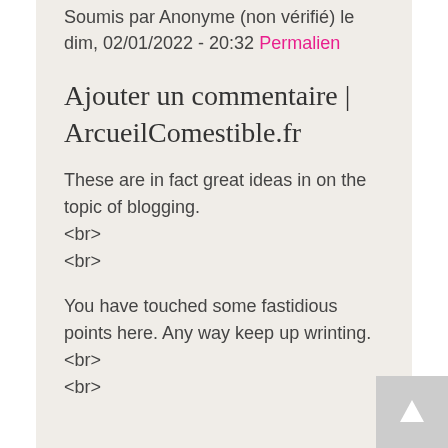Soumis par Anonyme (non vérifié) le dim, 02/01/2022 - 20:32 Permalien
Ajouter un commentaire | ArcueilComestible.fr
These are in fact great ideas in on the topic of blogging.
<br>
<br>
You have touched some fastidious points here. Any way keep up wrinting.<br>
<br>